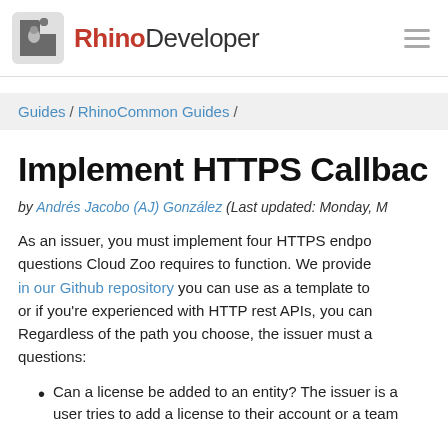RhinoDeveloper
Guides / RhinoCommon Guides /
Implement HTTPS Callbacks
by Andrés Jacobo (AJ) González (Last updated: Monday, M…
As an issuer, you must implement four HTTPS endpoints that answer questions Cloud Zoo requires to function. We provide in our Github repository you can use as a template to or if you're experienced with HTTP rest APIs, you can Regardless of the path you choose, the issuer must a questions:
Can a license be added to an entity? The issuer is a user tries to add a license to their account or a team